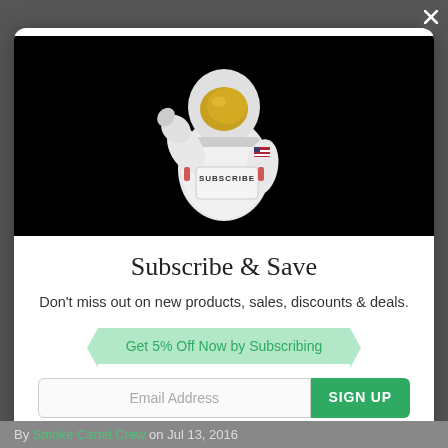[Figure (photo): Astronaut in white spacesuit with gold visor, flexing one arm and holding a sign that says SUBSCRIBE, against a black background.]
Subscribe & Save
Don't miss out on new products, sales, discounts & deals.
Get 5% Off Now by Subscribing
Email Address
SIGN UP
By Smoke Cartel Crew on Jul 13, 2016